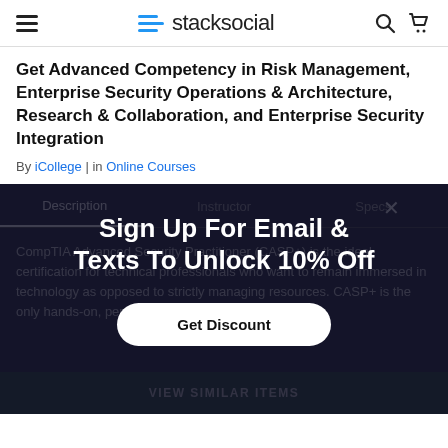stacksocial
Get Advanced Competency in Risk Management, Enterprise Security Operations & Architecture, Research & Collaboration, and Enterprise Security Integration
By iCollege | in Online Courses
Description | Instructor | Specs
Sign Up For Email & Texts To Unlock 10% Off
CompTIA Advanced Security Practitioner (CASP+) is the ideal certification for technical professionals who want to remain immersed in technology as opposed to strictly managing resources. CASP+ is the only hands-on, performance-based certification for
VIEW SIMILAR ITEMS